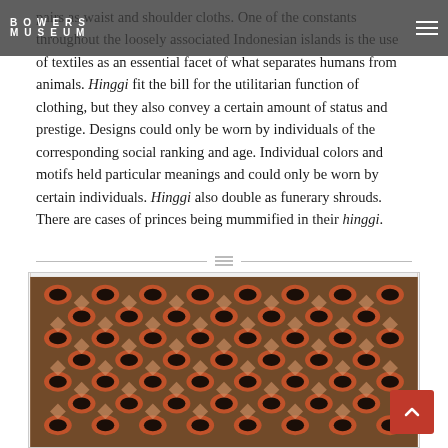BOWERS MUSEUM
pairs as waist and shoulder cloths. One of the constants throughout the loosely associated Indonesian islands is the use of textiles as an essential facet of what separates humans from animals. Hinggi fit the bill for the utilitarian function of clothing, but they also convey a certain amount of status and prestige. Designs could only be worn by individuals of the corresponding social ranking and age. Individual colors and motifs held particular meanings and could only be worn by certain individuals. Hinggi also double as funerary shrouds. There are cases of princes being mummified in their hinggi.
[Figure (photo): A textile with an intricate ikat weave pattern in orange/rust, dark brown/black, and cream colors showing repeating geometric and organic motifs typical of Indonesian hinggi cloth.]